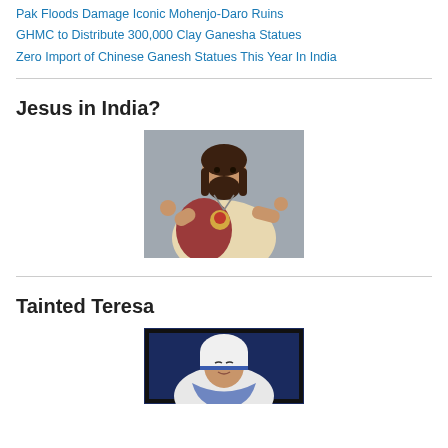Pak Floods Damage Iconic Mohenjo-Daro Ruins
GHMC to Distribute 300,000 Clay Ganesha Statues
Zero Import of Chinese Ganesh Statues This Year In India
Jesus in India?
[Figure (photo): A smiling Jesus statue giving a thumbs up with one hand and pointing with the other, wearing robes with a sacred heart on the chest, set against a stone background.]
Tainted Teresa
[Figure (photo): A portrait painting or image of Mother Teresa wearing her characteristic white and blue habit, partially visible.]